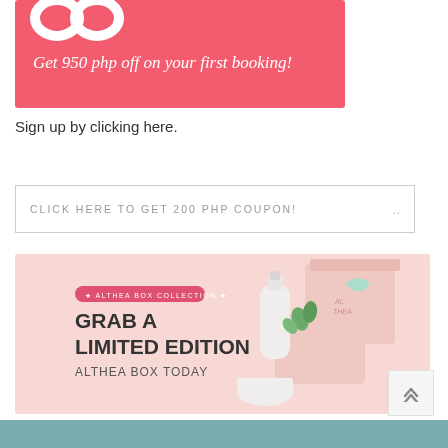[Figure (illustration): Pink/red banner advertisement with looping infinity-style logo and text 'Get 950 php off on your first booking!' in white italic script on coral/red background]
Sign up by clicking here.
CLICK HERE TO GET 200 PHP COUPON!  ..
[Figure (illustration): Althea Box Collection banner on pink background showing text 'GRAB A LIMITED EDITION ALTHEA BOX TODAY' with beauty/skincare products including a white bottle, cream jar, and pink boxes]